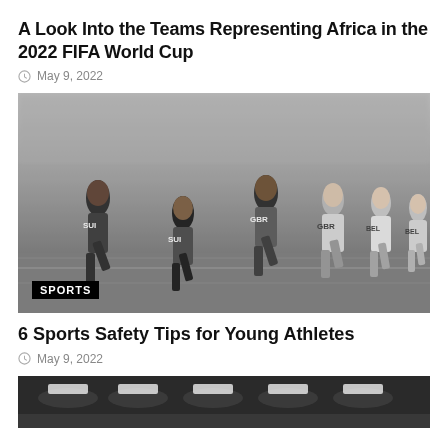A Look Into the Teams Representing Africa in the 2022 FIFA World Cup
May 9, 2022
[Figure (photo): Black and white photo of female relay runners racing on a track, wearing SUI, GBR, and BEL uniforms, in a stadium setting.]
SPORTS
6 Sports Safety Tips for Young Athletes
May 9, 2022
[Figure (photo): Partial bottom photo of athletes in a stadium, cut off at bottom of page.]